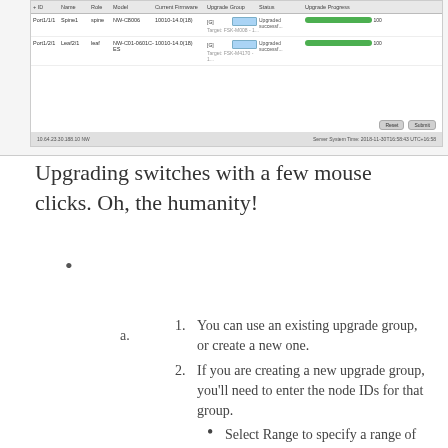[Figure (screenshot): Screenshot of a network switch upgrade management UI showing a table with columns: ID, Name, Role, Model, Current Firmware, Upgrade Group, Status, Upgrade Progress. Two rows: Port1/1/1 (Spine1, spine, NW-C8006, 10010-14.0(18)) and Port1/2/1 (Leaf2/1, leaf, NW-C01-0601C-ES, 10010-14.0(18)), both showing 'Upgraded successf...' status with full green progress bars. Reset and Submit buttons visible. Bottom bar shows timestamp and server system time.]
Upgrading switches with a few mouse clicks. Oh, the humanity!
a.  1. You can use an existing upgrade group, or create a new one.
2. If you are creating a new upgrade group, you'll need to enter the node IDs for that group.
Select Range to specify a range of IDs separated by commas (eg, “101,201-209,301-303,402”). See the Upgrade